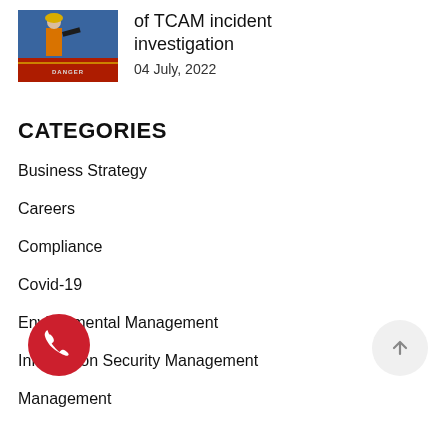[Figure (photo): Construction worker in orange high-visibility vest at a work site with a danger sign in the foreground]
of TCAM incident investigation
04 July, 2022
CATEGORIES
Business Strategy
Careers
Compliance
Covid-19
Environmental Management
Information Security Management
Management